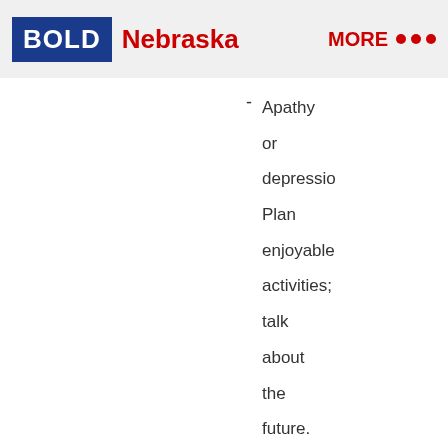BOLD Nebraska | MORE
Apathy or depression. Plan enjoyable activities; talk about the future.
Agitation. Teach relaxation techniques